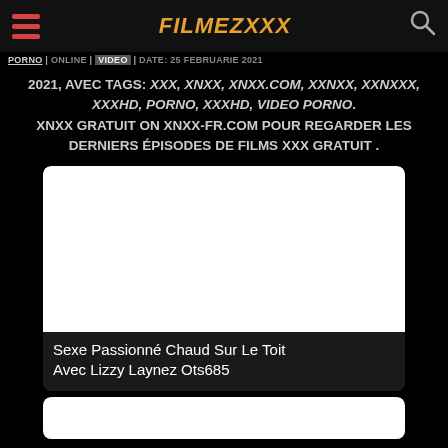FILMEZXXX
PORNO | ONLINE | VIDEO | DATE: 25 FEBRUARIE 2021, AVEC TAGS: XXX, XNXX, XNXX.COM, XXNXX, XXNXXX, XXXHD, PORNO, XXXHD, VIDEO PORNO. XNXX GRATUIT ON XNXX-FR.COM POUR REGARDER LES DERNIERS ÉPISODES DE FILMS XXX GRATUIT .
[Figure (photo): White thumbnail placeholder for video]
Sexe Passionné Chaud Sur Le Toit Avec Lizzy Laynez Ots685
[Figure (photo): White thumbnail placeholder for second video]